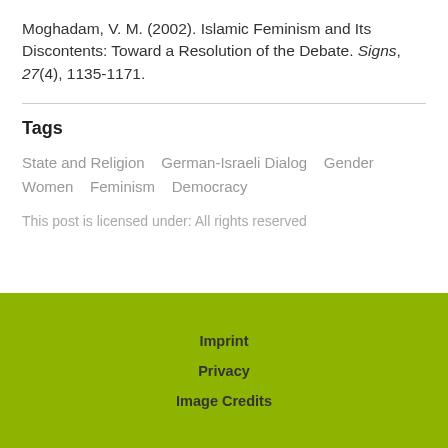Moghadam, V. M. (2002). Islamic Feminism and Its Discontents: Toward a Resolution of the Debate. Signs, 27(4), 1135-1171.
Tags
State and Religion   German-Israeli Dialog   Gender   Women   Feminism   Democracy
This post is licensed under: All rights reserved
Imprint
Privacy
Image Credits